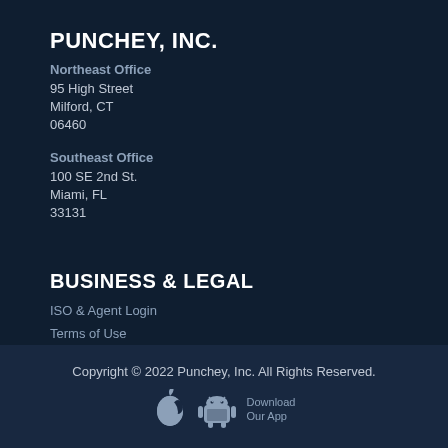PUNCHEY, INC.
Northeast Office
95 High Street
Milford, CT
06460
Southeast Office
100 SE 2nd St.
Miami, FL
33131
BUSINESS & LEGAL
ISO & Agent Login
Terms of Use
Privacy Policy
Software Billing Policy
Copyright © 2022 Punchey, Inc. All Rights Reserved.
[Figure (illustration): Apple App Store and Google Play Store icons with 'Download Our App' text]